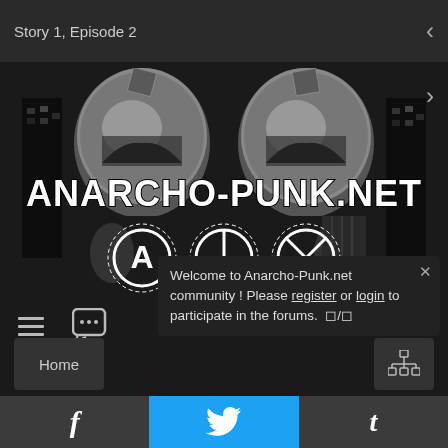Story 1, Episode 2
[Figure (illustration): Black and white anarcho-punk banner image showing two reflective spheres with crowds reflected in them, large text reading ANARCHO-PUNK.NET and anarchist symbols below including circle-A, peace symbol, and crossed-circle symbol]
[Figure (infographic): Hamburger menu icon and chat bubble icon in dark bar]
Welcome to Anarcho-Punk.net community! Please register or login to participate in the forums.
Home
f (Facebook) Twitter t (Tumblr) social share bar